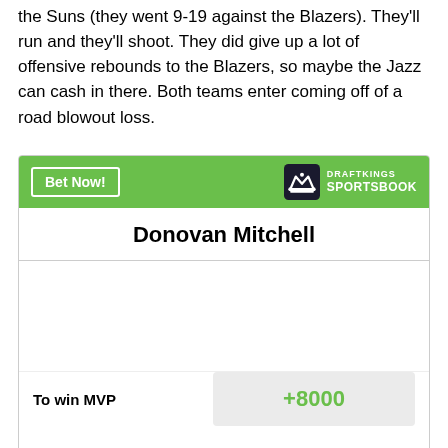the Suns (they went 9-19 against the Blazers). They'll run and they'll shoot. They did give up a lot of offensive rebounds to the Blazers, so maybe the Jazz can cash in there. Both teams enter coming off of a road blowout loss.
[Figure (other): DraftKings Sportsbook betting widget showing Donovan Mitchell To win MVP odds of +8000]